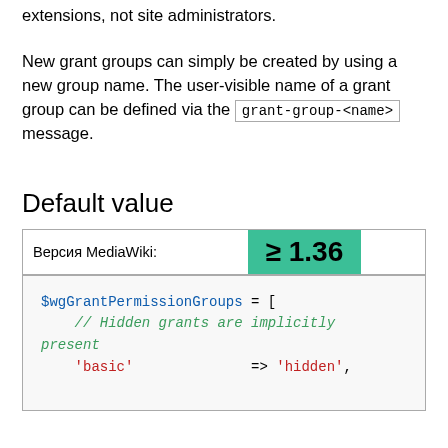extensions, not site administrators.
New grant groups can simply be created by using a new group name. The user-visible name of a grant group can be defined via the grant-group-<name> message.
Default value
| Версия MediaWiki: | ≥ 1.36 |
| --- | --- |
$wgGrantPermissionGroups = [
    // Hidden grants are implicitly present
    'basic'              => 'hidden',